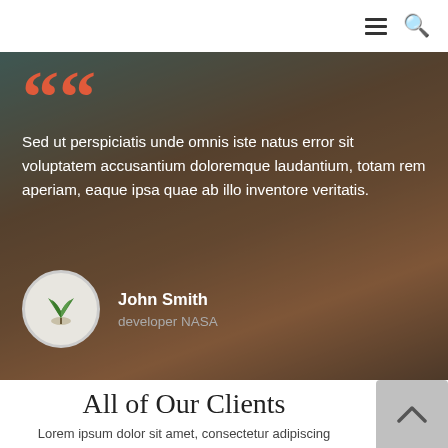[Figure (screenshot): Navigation bar with hamburger menu icon and search icon on the right]
[Figure (photo): Testimonial section with dark overlay on a canyon/sandstone background photo. Contains a large orange quotation mark, testimonial text, and author info with circular avatar showing a plant/leaf image.]
Sed ut perspiciatis unde omnis iste natus error sit voluptatem accusantium doloremque laudantium, totam rem aperiam, eaque ipsa quae ab illo inventore veritatis.
John Smith
developer NASA
All of Our Clients
Lorem ipsum dolor sit amet, consectetur adipiscing